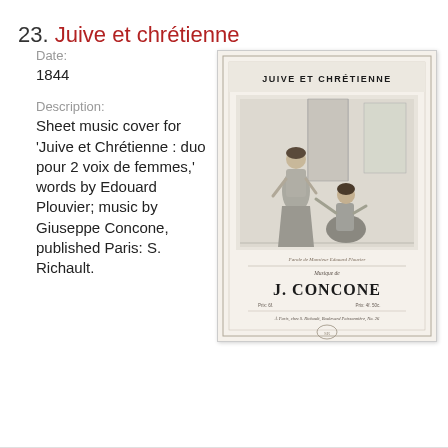23. Juive et chrétienne
Date:
1844
Description:
Sheet music cover for 'Juive et Chrétienne : duo pour 2 voix de femmes,' words by Edouard Plouvier; music by Giuseppe Concone, published Paris: S. Richault.
[Figure (illustration): Sheet music cover for 'Juive et Chrétienne' showing title text 'JUIVE ET CHRÉTIENNE' at top, an engraved illustration of two women in a domestic scene, composer name 'J. CONCONE' in large letters, and publisher information. Published Paris: S. Richault, 1844.]